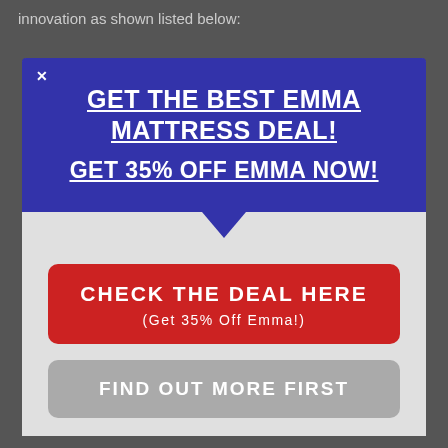innovation as shown listed below:
[Figure (screenshot): A popup modal advertisement for Emma Mattress deal showing blue banner with 'GET THE BEST EMMA MATTRESS DEAL! GET 35% OFF EMMA NOW!' text, a red button 'CHECK THE DEAL HERE (Get 35% Off Emma!)' and a gray button 'FIND OUT MORE FIRST']